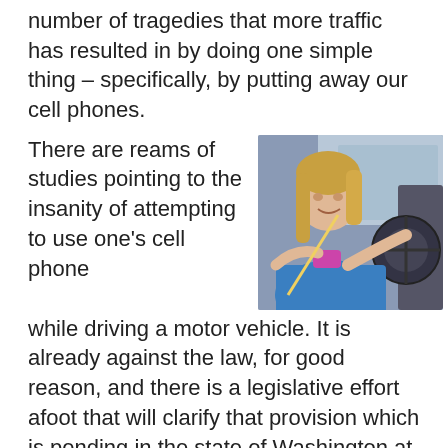number of tragedies that more traffic has resulted in by doing one simple thing – specifically, by putting away our cell phones.
There are reams of studies pointing to the insanity of attempting to use one's cell phone while driving a motor vehicle. It is already against the law, for good reason, and there is a legislative effort afoot that will clarify that provision which is pending in the state of Washington at this very moment.
[Figure (photo): A young woman with long blonde hair, wearing a blue t-shirt, sitting in the driver's seat of a car, smiling and looking down at her cell phone while her hands are on the steering wheel.]